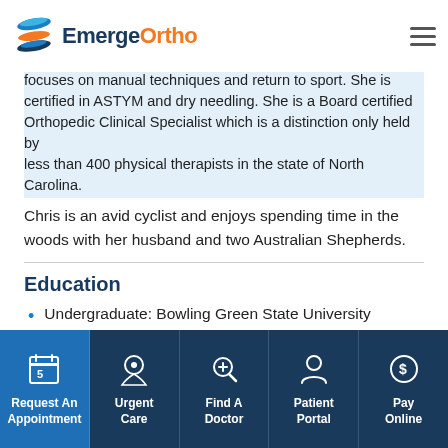EmergeOrtho
focuses on manual techniques and return to sport. She is certified in ASTYM and dry needling. She is a Board certified Orthopedic Clinical Specialist which is a distinction only held by less than 400 physical therapists in the state of North Carolina.
Chris is an avid cyclist and enjoys spending time in the woods with her husband and two Australian Shepherds.
Education
Undergraduate: Bowling Green State University
Request An Appointment | Urgent Care | Find A Doctor | Patient Portal | Pay Online